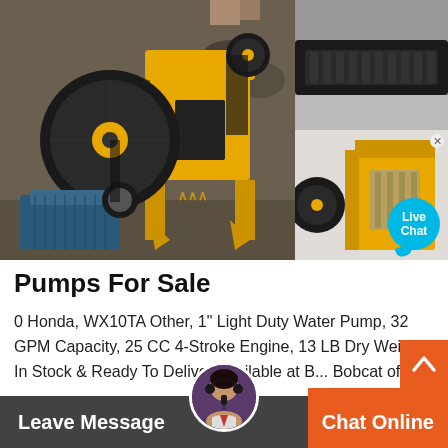[Figure (photo): Yellow jaw crusher machine with blue electric motor on left, industrial mining/crushing equipment on construction site with rocks in background]
[Figure (photo): Close-up of black conveyor belt/pulley component, top right]
[Figure (photo): Yellow jaw crusher machine detail view, bottom right, with Live Chat bubble overlay]
Pumps For Sale
0 Honda, WX10TA Other, 1" Light Duty Water Pump, 32 GPM Capacity, 25 CC 4-Stroke Engine, 13 LB Dry Weight., In Stock & Ready To Deliver!Available at B... Bobcat of Frederick - MD - Website. Frederick, MD - 30 mi. away Email, Call, 1-301-378-049... to chat with this dealer. Bobcat of Frederick MD - Video Chat Online dealer.
Leave Message  Chat Online